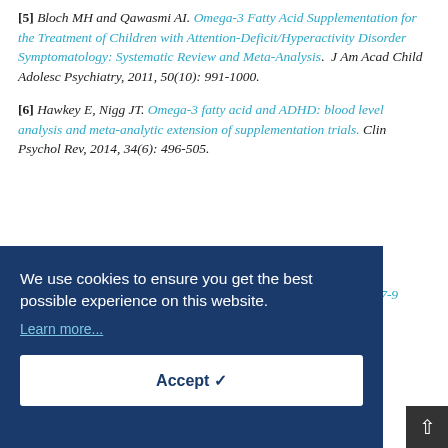[5] Bloch MH and Qawasmi AI. Omega-3 Fatty Acid Supplementation for the Treatment of Children with Attention-Deficit/Hyperactivity Disorder Symptomatology: Systematic Review and Meta-Analysis. J Am Acad Child Adolesc Psychiatry, 2011, 50(10): 991-1000.
[6] Hawkey E, Nigg JT. Omega-3 fatty acid and ADHD: blood level analysis and meta-analytic extension of supplementation trials. Clin Psychol Rev, 2014, 34(6): 496-505.
We use cookies to ensure you get the best possible experience on this website. Learn more...